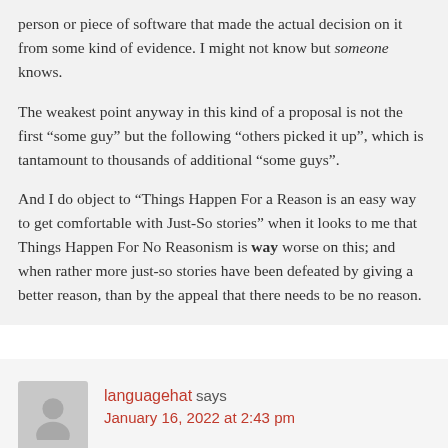person or piece of software that made the actual decision on it from some kind of evidence. I might not know but someone knows.
The weakest point anyway in this kind of a proposal is not the first “some guy” but the following “others picked it up”, which is tantamount to thousands of additional “some guys”.
And I do object to “Things Happen For a Reason is an easy way to get comfortable with Just-So stories” when it looks to me that Things Happen For No Reasonism is way worse on this; and when rather more just-so stories have been defeated by giving a better reason, than by the appeal that there needs to be no reason.
languagehat says January 16, 2022 at 2:43 pm